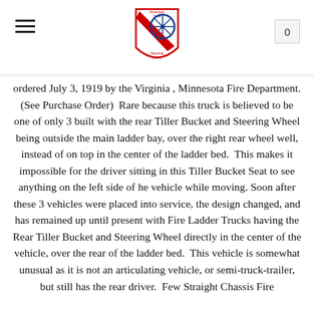[Logo: American Truck Historical Society] [hamburger menu] [page number: 0]
ordered July 3, 1919 by the Virginia , Minnesota Fire Department. (See Purchase Order)  Rare because this truck is believed to be one of only 3 built with the rear Tiller Bucket and Steering Wheel being outside the main ladder bay, over the right rear wheel well, instead of on top in the center of the ladder bed.  This makes it impossible for the driver sitting in this Tiller Bucket Seat to see anything on the left side of he vehicle while moving. Soon after these 3 vehicles were placed into service, the design changed, and has remained up until present with Fire Ladder Trucks having the Rear Tiller Bucket and Steering Wheel directly in the center of the vehicle, over the rear of the ladder bed.  This vehicle is somewhat unusual as it is not an articulating vehicle, or semi-truck-trailer, but still has the rear driver.  Few Straight Chassis Fire